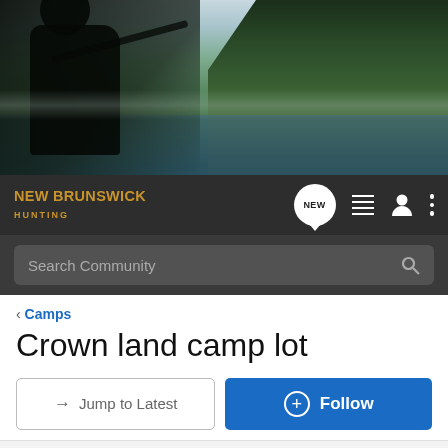[Figure (photo): Hero banner image of a hunter in camouflage gear near a forest lake with reflections, pine trees in background]
NEW BRUNSWICK HUNTING
Search Community
< Camps
Crown land camp lot
→ Jump to Latest
+ Follow
1 - 20 of 22 Posts
1 of 2
GameChaser · Registered